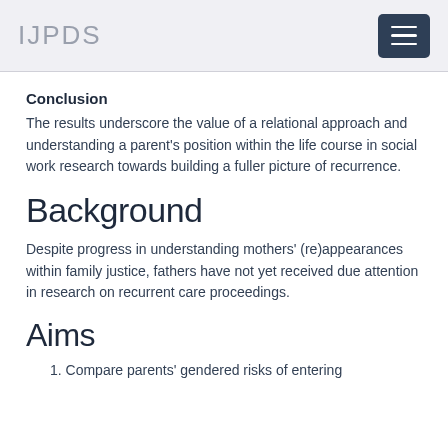IJPDS
Conclusion
The results underscore the value of a relational approach and understanding a parent's position within the life course in social work research towards building a fuller picture of recurrence.
Background
Despite progress in understanding mothers' (re)appearances within family justice, fathers have not yet received due attention in research on recurrent care proceedings.
Aims
1. Compare parents' gendered risks of entering